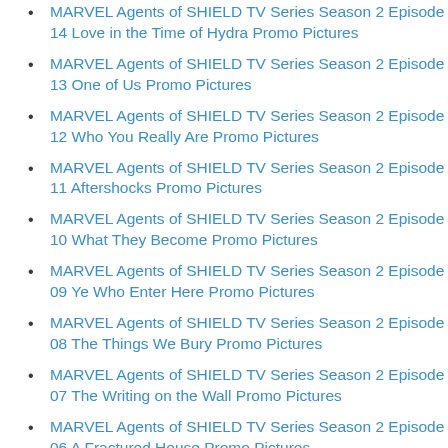MARVEL Agents of SHIELD TV Series Season 2 Episode 14 Love in the Time of Hydra Promo Pictures
MARVEL Agents of SHIELD TV Series Season 2 Episode 13 One of Us Promo Pictures
MARVEL Agents of SHIELD TV Series Season 2 Episode 12 Who You Really Are Promo Pictures
MARVEL Agents of SHIELD TV Series Season 2 Episode 11 Aftershocks Promo Pictures
MARVEL Agents of SHIELD TV Series Season 2 Episode 10 What They Become Promo Pictures
MARVEL Agents of SHIELD TV Series Season 2 Episode 09 Ye Who Enter Here Promo Pictures
MARVEL Agents of SHIELD TV Series Season 2 Episode 08 The Things We Bury Promo Pictures
MARVEL Agents of SHIELD TV Series Season 2 Episode 07 The Writing on the Wall Promo Pictures
MARVEL Agents of SHIELD TV Series Season 2 Episode 06 A Fractured House Promo Pictures
MARVEL Agents of SHIELD TV Series Season 2 Episode 05 A Hen in the Wolf House Promo Pictures
MARVEL Agents of SHIELD TV Series Season 2 Episode 04 Promo Pictures